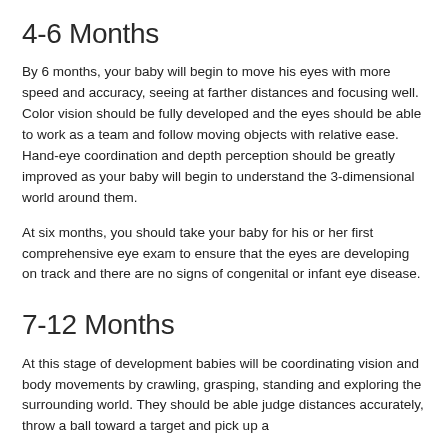4-6 Months
By 6 months, your baby will begin to move his eyes with more speed and accuracy, seeing at farther distances and focusing well. Color vision should be fully developed and the eyes should be able to work as a team and follow moving objects with relative ease. Hand-eye coordination and depth perception should be greatly improved as your baby will begin to understand the 3-dimensional world around them.
At six months, you should take your baby for his or her first comprehensive eye exam to ensure that the eyes are developing on track and there are no signs of congenital or infant eye disease.
7-12 Months
At this stage of development babies will be coordinating vision and body movements by crawling, grasping, standing and exploring the surrounding world. They should be able judge distances accurately, throw a ball toward a target and pick up a